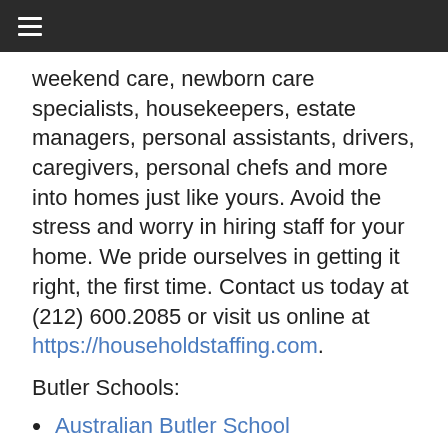≡
weekend care, newborn care specialists, housekeepers, estate managers, personal assistants, drivers, caregivers, personal chefs and more into homes just like yours. Avoid the stress and worry in hiring staff for your home. We pride ourselves in getting it right, the first time. Contact us today at (212) 600.2085 or visit us online at https://householdstaffing.com.
Butler Schools:
Australian Butler School
English Nanny and Governess School
Get Organized Institute